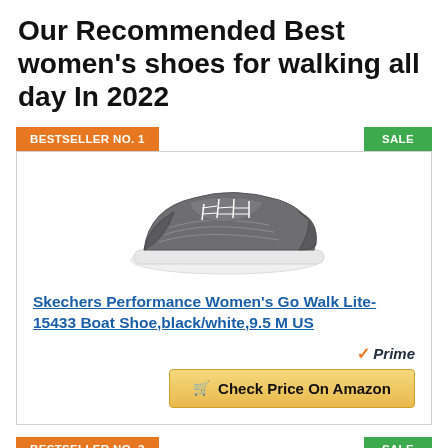Our Recommended Best women's shoes for walking all day In 2022
BESTSELLER NO. 1
SALE
[Figure (photo): Skechers women's boat shoe in black/white with white sole, lace-up style]
Skechers Performance Women's Go Walk Lite-15433 Boat Shoe,black/white,9.5 M US
Prime
Check Price On Amazon
BESTSELLER NO. 2
SALE